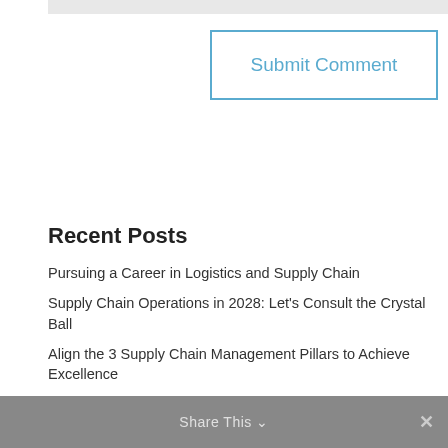Submit Comment
Recent Posts
Pursuing a Career in Logistics and Supply Chain
Supply Chain Operations in 2028: Let’s Consult the Crystal Ball
Align the 3 Supply Chain Management Pillars to Achieve Excellence
The Essentials to Consider in Your Warehouse Layout
10 Good Reasons to Review Your Distribution Network Design
Share This